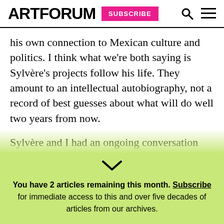ARTFORUM | SUBSCRIBE
his own connection to Mexican culture and politics. I think what we're both saying is Sylvère's projects follow his life. They amount to an intellectual autobiography, not a record of best guesses about what will do well two years from now.
Sylvère and I had an ongoing conversation that began when we met and never stopped. And then you entered it almost twenty years ago, and it became the three of us.
You have 2 articles remaining this month. Subscribe for immediate access to this and over five decades of articles from our archives.